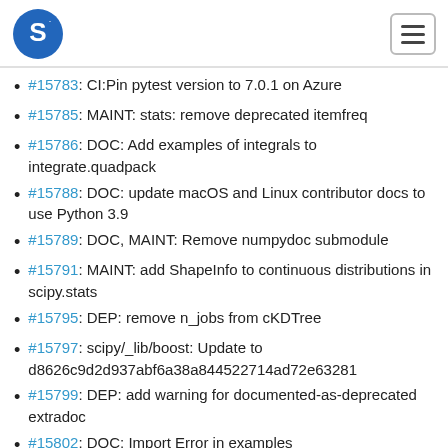SciPy logo and navigation
#15783: CI:Pin pytest version to 7.0.1 on Azure
#15785: MAINT: stats: remove deprecated itemfreq
#15786: DOC: Add examples of integrals to integrate.quadpack
#15788: DOC: update macOS and Linux contributor docs to use Python 3.9
#15789: DOC, MAINT: Remove numpydoc submodule
#15791: MAINT: add ShapeInfo to continuous distributions in scipy.stats
#15795: DEP: remove n_jobs from cKDTree
#15797: scipy/_lib/boost: Update to d8626c9d2d937abf6a38a844522714ad72e63281
#15799: DEP: add warning for documented-as-deprecated extradoc
#15802: DOC: Import Error in examples
#15803: DOC: error in TransferFunctionDiscrete